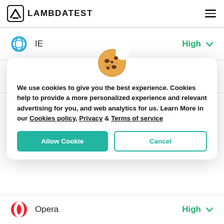LAMBDATEST
[Figure (screenshot): IE browser row with High label and chevron]
[Figure (screenshot): Edge browser row with High label and chevron]
[Figure (illustration): Cookie consent modal with cookie emoji icon, text about cookies policy, Allow Cookie and Cancel buttons]
[Figure (screenshot): Opera browser row with High label and chevron (partially visible)]